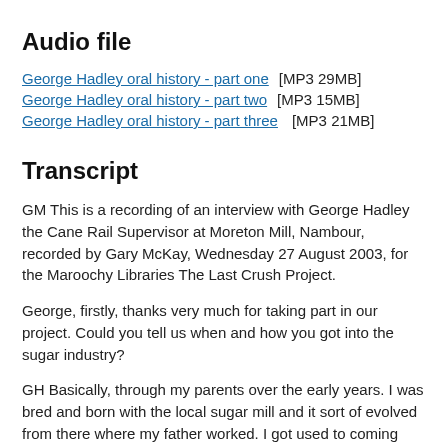Audio file
George Hadley oral history - part one   [MP3 29MB]
George Hadley oral history - part two   [MP3 15MB]
George Hadley oral history - part three   [MP3 21MB]
Transcript
GM This is a recording of an interview with George Hadley the Cane Rail Supervisor at Moreton Mill, Nambour, recorded by Gary McKay, Wednesday 27 August 2003, for the Maroochy Libraries The Last Crush Project.
George, firstly, thanks very much for taking part in our project. Could you tell us when and how you got into the sugar industry?
GH Basically, through my parents over the early years. I was bred and born with the local sugar mill and it sort of evolved from there where my father worked. I got used to coming and seeing him at